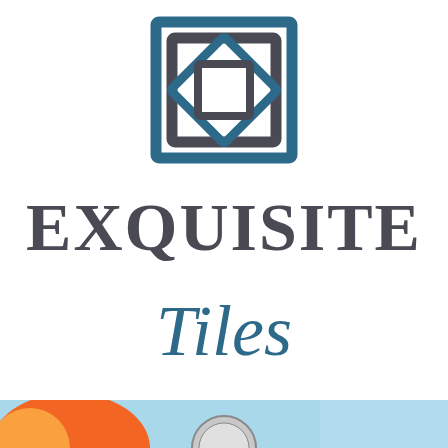[Figure (logo): Exquisite Tiles logo: geometric diamond/square interlocking shapes in dark gray and steel blue, above the text EXQUISITE in large gray serif caps, and Tiles in cursive steel blue script]
[Figure (illustration): Bottom banner strip showing a colorful image with orange and sky blue areas, with a partially visible circular emblem/logo in the center]